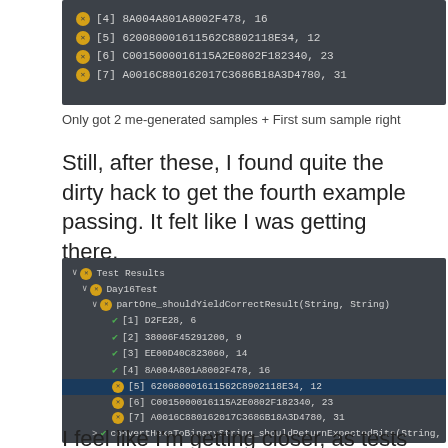[Figure (screenshot): Dark-themed IDE test results panel showing failed test items: [4] 8A004A801A8002F478, 16 | [5] 620080001611562C8802118E34, 12 | [6] C0015000016115A2E0802F182340, 23 | [7] A0016C880162017C3686B18A3D4780, 31]
Only got 2 me-generated samples + First sum sample right
Still, after these, I found quite the dirty hack to get the fourth example passing. It felt like I was getting there.
[Figure (screenshot): Dark-themed IDE test results panel showing Test Results > Day16Test > partOne_shouldYieldCorrectResult(String, String) with items [1]-[4] passing (green checks) and [5]-[7] failing (orange X), item [5] highlighted in blue. Also shows convertHexaToBinaryString_shouldReturnExpectedBits(String, String) passing.]
Managed to get the second example sum working but still, 3 don't
I feel like I'm getting closer, as tests grow greener but